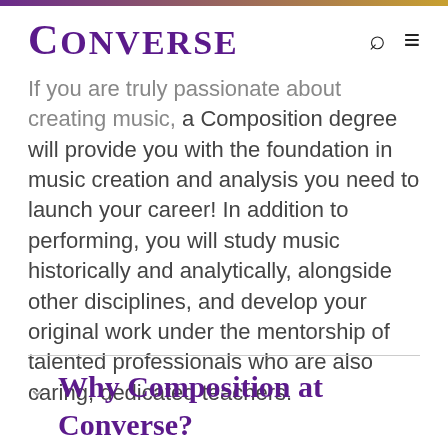CONVERSE
If you are truly passionate about creating music, a Composition degree will provide you with the foundation in music creation and analysis you need to launch your career! In addition to performing, you will study music historically and analytically, alongside other disciplines, and develop your original work under the mentorship of talented professionals who are also caring, dedicated teachers.
Why Composition at Converse?